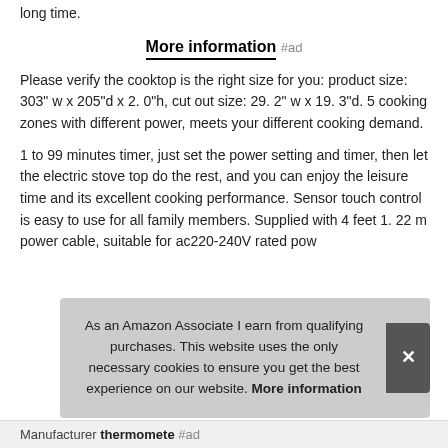long time.
More information #ad
Please verify the cooktop is the right size for you: product size: 303" w x 205"d x 2. 0"h, cut out size: 29. 2" w x 19. 3"d. 5 cooking zones with different power, meets your different cooking demand.
1 to 99 minutes timer, just set the power setting and timer, then let the electric stove top do the rest, and you can enjoy the leisure time and its excellent cooking performance. Sensor touch control is easy to use for all family members. Supplied with 4 feet 1. 22 m power cable, suitable for ac220-240V rated pow
As an Amazon Associate I earn from qualifying purchases. This website uses the only necessary cookies to ensure you get the best experience on our website. More information
Manufacturer thermomete #ad